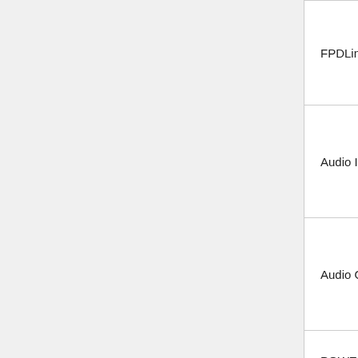|  |  |  |
| --- | --- | --- |
| FPDLink | No difference | D fu |
| Audio In | No difference | N d |
| Audio Out | No difference | N d |
| POWER AMP | ADD Reset Signal(nVRST) | D fu |
| MOST | ADD Level conversion IC(U118) | N d |
|  |  |  |